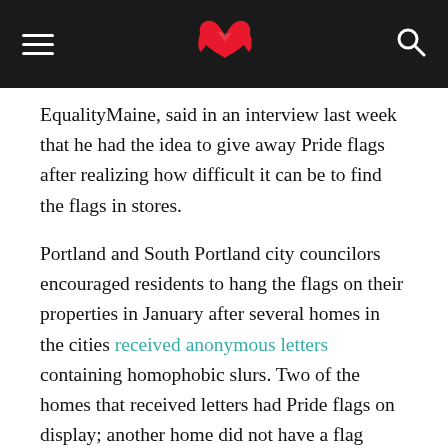[Navigation header with hamburger menu, bird logo, and search icon]
EqualityMaine, said in an interview last week that he had the idea to give away Pride flags after realizing how difficult it can be to find the flags in stores.
Portland and South Portland city councilors encouraged residents to hang the flags on their properties in January after several homes in the cities received anonymous letters containing homophobic slurs. Two of the homes that received letters had Pride flags on display; another home did not have a flag flying but has a gay resident.
O’Connor said, however, it can be tough to find Pride flags for purchase when it’s not June, so he posted on the EqualityMaine social media channels in January that his organization would be giving away Pride flags to anyone who